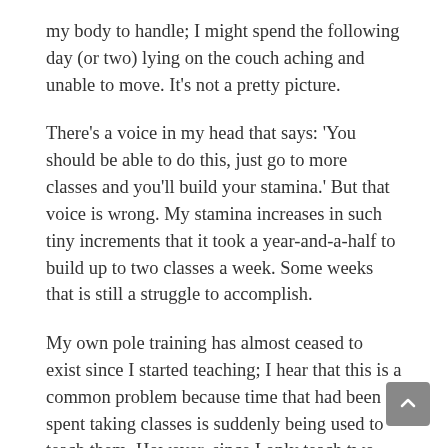my body to handle; I might spend the following day (or two) lying on the couch aching and unable to move. It's not a pretty picture.
There's a voice in my head that says: 'You should be able to do this, just go to more classes and you'll build your stamina.' But that voice is wrong. My stamina increases in such tiny increments that it took a year-and-a-half to build up to two classes a week. Some weeks that is still a struggle to accomplish.
My own pole training has almost ceased to exist since I started teaching; I hear that this is a common problem because time that had been spent taking classes is suddenly being used to teach them. However, since I only teach two classes a week, time is not the issue so much as it is energy. Two hours a week and I've used up most of my physical activity resources. If I'm having a good week and have the energy to practice at home, I still only have stamina for t to-fifteen minutes a day. This means that I can spend tha time spinning or conditioning or working on a trick, but not